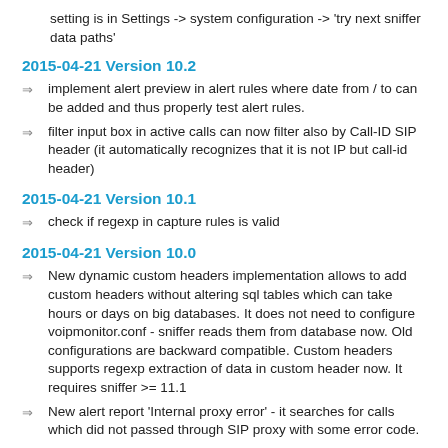setting is in Settings -> system configuration -> 'try next sniffer data paths'
2015-04-21 Version 10.2
implement alert preview in alert rules where date from / to can be added and thus properly test alert rules.
filter input box in active calls can now filter also by Call-ID SIP header (it automatically recognizes that it is not IP but call-id header)
2015-04-21 Version 10.1
check if regexp in capture rules is valid
2015-04-21 Version 10.0
New dynamic custom headers implementation allows to add custom headers without altering sql tables which can take hours or days on big databases. It does not need to configure voipmonitor.conf - sniffer reads them from database now. Old configurations are backward compatible. Custom headers supports regexp extraction of data in custom header now. It requires sniffer >= 11.1
New alert report 'Internal proxy error' - it searches for calls which did not passed through SIP proxy with some error code.